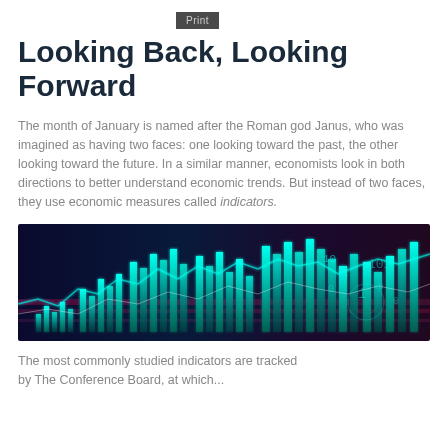Print
Looking Back, Looking Forward
The month of January is named after the Roman god Janus, who was imagined as having two faces: one looking toward the past, the other looking toward the future. In a similar manner, economists look in both directions to better understand economic trends. But instead of two faces, they use economic measures called indicators.
[Figure (photo): A stylized financial/stock market visualization with glowing cyan candlestick charts, waveform lines, and digital data overlay on a dark blue-purple background.]
The most commonly studied indicators are tracked by The Conference Board, at which...